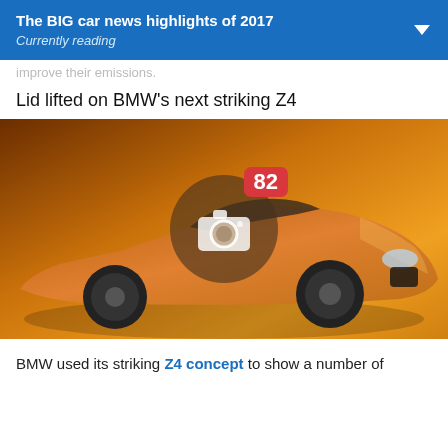The BIG car news highlights of 2017
Currently reading
improve their emissions.
Lid lifted on BMW's next striking Z4
[Figure (photo): BMW Z4 concept car in striking orange/amber color on orange background with a gallery overlay showing camera icon and badge showing 82 photos]
BMW used its striking Z4 concept to show a number of